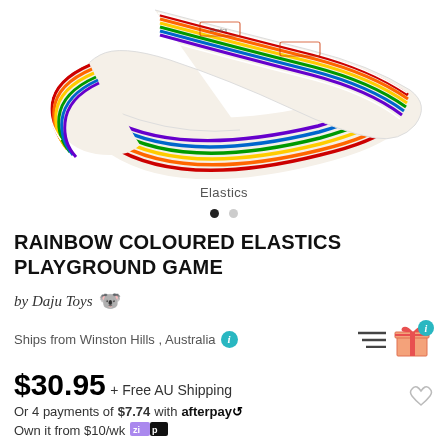[Figure (photo): Rainbow coloured elastic band coiled/twisted on white background, showing rainbow stripes and printed text on the band]
Elastics
RAINBOW COLOURED ELASTICS PLAYGROUND GAME
by Daju Toys 🐨
Ships from Winston Hills , Australia ℹ️
$30.95 + Free AU Shipping
Or 4 payments of $7.74 with afterpay
Own it from $10/wk zip